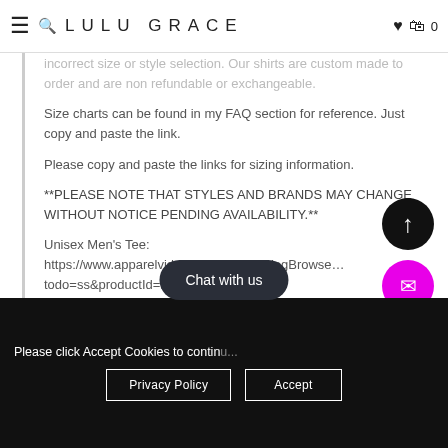LULU GRACE
incorrect size or style selection. Our shirts are custom made to order and are non refundable or exchangeable.
Size charts can be found in my FAQ section for reference. Just copy and paste the link.
Please copy and paste the links for sizing information.
**PLEASE NOTE THAT STYLES AND BRANDS MAY CHANGE WITHOUT NOTICE PENDING AVAILABILITY.**
Unisex Men's Tee: https://www.apparelvideos.com/cs/CatalogBrowser?todo=ss&productId=BC3001
Please click Accept Cookies to continue...
Privacy Policy
Accept